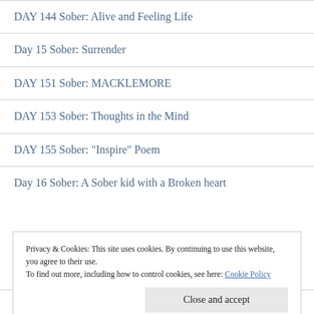DAY 144 Sober: Alive and Feeling Life
Day 15 Sober: Surrender
DAY 151 Sober: MACKLEMORE
DAY 153 Sober: Thoughts in the Mind
DAY 155 Sober: "Inspire" Poem
Day 16 Sober: A Sober kid with a Broken heart
Privacy & Cookies: This site uses cookies. By continuing to use this website, you agree to their use. To find out more, including how to control cookies, see here: Cookie Policy
Day 169 Sober: Creating love for me